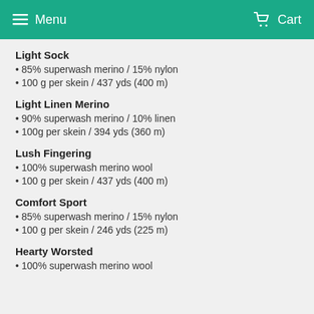Menu  Cart
Light Sock
85% superwash merino / 15% nylon
100 g per skein / 437 yds (400 m)
Light Linen Merino
90% superwash merino / 10% linen
100g per skein / 394 yds (360 m)
Lush Fingering
100% superwash merino wool
100 g per skein / 437 yds (400 m)
Comfort Sport
85% superwash merino / 15% nylon
100 g per skein / 246 yds (225 m)
Hearty Worsted
100% superwash merino wool